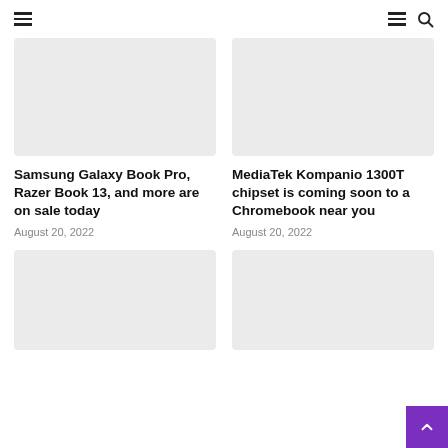navigation header with menu and search icons
[Figure (photo): Placeholder image for Samsung Galaxy Book Pro article]
Samsung Galaxy Book Pro, Razer Book 13, and more are on sale today
August 20, 2022
[Figure (photo): Placeholder image for MediaTek Kompanio 1300T article]
MediaTek Kompanio 1300T chipset is coming soon to a Chromebook near you
August 20, 2022
[Figure (photo): Placeholder image for third article (bottom left)]
[Figure (photo): Placeholder image for fourth article (bottom right)]